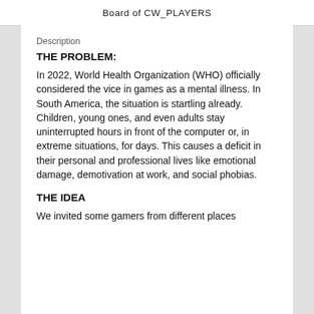Board of CW_PLAYERS
Description
THE PROBLEM:
In 2022, World Health Organization (WHO) officially considered the vice in games as a mental illness. In South America, the situation is startling already. Children, young ones, and even adults stay uninterrupted hours in front of the computer or, in extreme situations, for days. This causes a deficit in their personal and professional lives like emotional damage, demotivation at work, and social phobias.
THE IDEA
We invited some gamers from different places